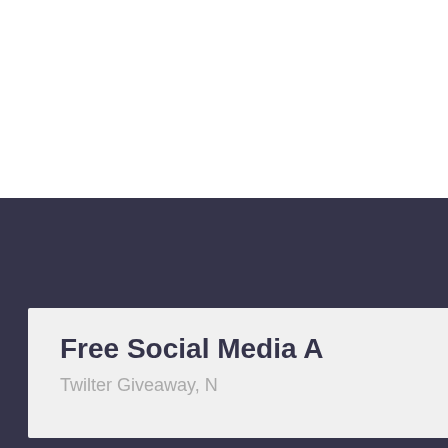Free Social Media A
Twilter Giveaway, N